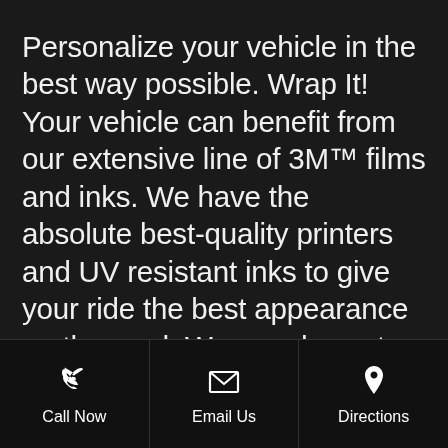Personalize your vehicle in the best way possible. Wrap It! Your vehicle can benefit from our extensive line of 3M™ films and inks. We have the absolute best-quality printers and UV resistant inks to give your ride the best appearance on the road. We can do custom graphics or even color changes. If you have an idea in mind, please contact us. We would love to discuss some of the options you have when it comes to making your vehicle
Call Now
Email Us
Directions